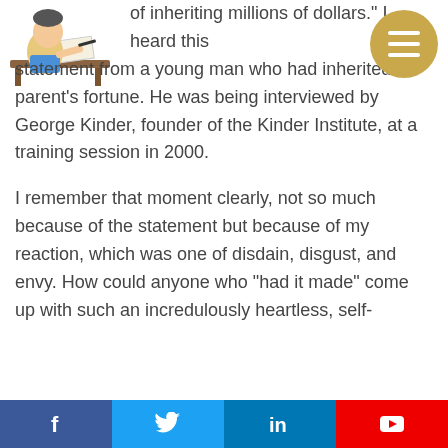[Figure (illustration): Cartoon illustration of a person sitting at a desk writing]
of inheriting millions of dollars." I heard this statement from a young man who had inherited his parent's fortune. He was being interviewed by George Kinder, founder of the Kinder Institute, at a training session in 2000.

I remember that moment clearly, not so much because of the statement but because of my reaction, which was one of disdain, disgust, and envy. How could anyone who “had it made” come up with such an incredulously heartless, self-
f  [Twitter]  in  [YouTube]